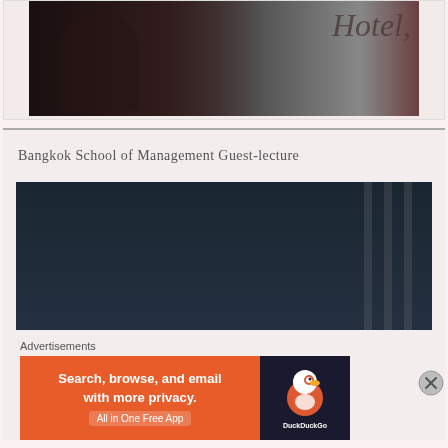[Figure (photo): Partial view of a person in a dark setting, with large italic text 'Hotel,' visible on the right side. Top portion of a video card.]
Bangkok School of Management Guest-lecture
[Figure (screenshot): Video player showing error message: 'The media could not be loaded, either because the server or network failed or because the format is not supported.' with a broken media icon below.]
Advertisements
[Figure (photo): DuckDuckGo advertisement banner: 'Search, browse, and email with more privacy. All in One Free App' on orange background with DuckDuckGo duck logo on dark background.]